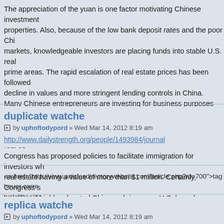The appreciation of the yuan is one factor motivating Chinese investment in properties. Also, because of the low bank deposit rates and the poor Chinese markets, knowledgeable investors are placing funds into stable U.S. real estate prime areas. The rapid escalation of real estate prices has been followed by a decline in values and more stringent lending controls in China. Many Chinese entrepreneurs are investing for business purposes as they are trading and other businesses in the U.S. As a measure to encourage more foreign investment in American real estate, Congress has proposed policies to facilitate immigration for investors who buy real estate having a value of more than $1 million. Certainly, Congress sees the benefits of highly educated Chinese doing more U.S. based business and moving to the U.S.
duplicate watche
by uphoftodypord » Wed Mar 14, 2012 8:19 am
http://www.dailystrength.org/people/1493984/journal
<a href="http://www.articlesdirectorywebsite.com/article.php?id=700">tag heuer carrera watches</a>
replica watche
by uphoftodypord » Wed Mar 14, 2012 8:19 am